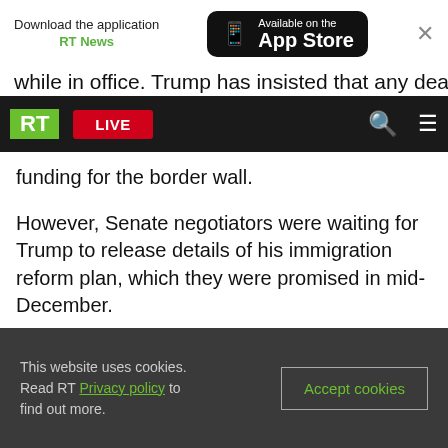Download the application RT News — Available on the App Store
while in office. Trump has insisted that any deal to funding for the border wall.
However, Senate negotiators were waiting for Trump to release details of his immigration reform plan, which they were promised in mid-December.
“I think as soon as the president will tell us ‘OK, this is something I could support’ then I think that gives us, I think, a lot of room to go talk to Democrats and say ‘OK, this what our parameters are,’” Senator John Cornyn (R-Texas) said,
This website uses cookies. Read RT Privacy policy to find out more. Accept cookies